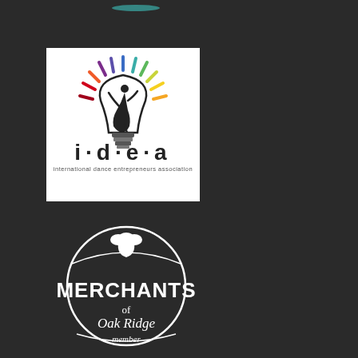[Figure (logo): IDEA - International Dance Entrepreneurs Association logo: a lightbulb with a dancing figure silhouette inside, colorful rays at top, text 'i·d·e·a' in large letters and 'international dance entrepreneurs association' below, on white background]
[Figure (logo): Merchants of Oak Ridge member badge: circular white outline badge with acorn icon at top, large bold text 'MERCHANTS', smaller text 'of', stylized text 'Oak Ridge', and cursive 'member' at bottom, on dark background]